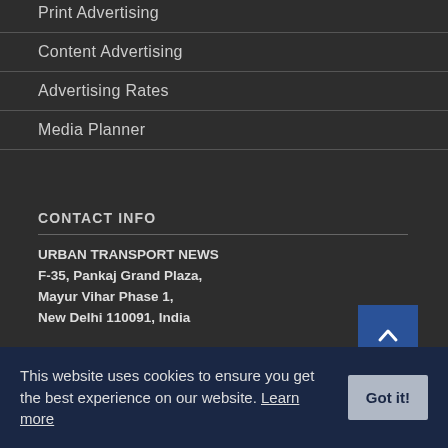Print Advertising
Content Advertising
Advertising Rates
Media Planner
CONTACT INFO
URBAN TRANSPORT NEWS
F-35, Pankaj Grand Plaza,
Mayur Vihar Phase 1,
New Delhi 110091, India
editor[at]urbantransportnews[dot]com
GSTIN: 07BZSPS0882E1ZV
ISSN: 2581-8023
This website uses cookies to ensure you get the best experience on our website. Learn more
Got it!